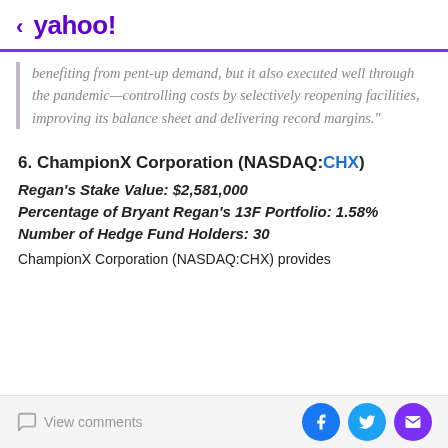< yahoo!
benefiting from pent-up demand, but it also executed well through the pandemic—controlling costs by selectively reopening facilities, improving its balance sheet and delivering record margins.”
6. ChampionX Corporation (NASDAQ:CHX)
Regan’s Stake Value: $2,581,000
Percentage of Bryant Regan’s 13F Portfolio: 1.58%
Number of Hedge Fund Holders: 30
ChampionX Corporation (NASDAQ:CHX) provides
View comments